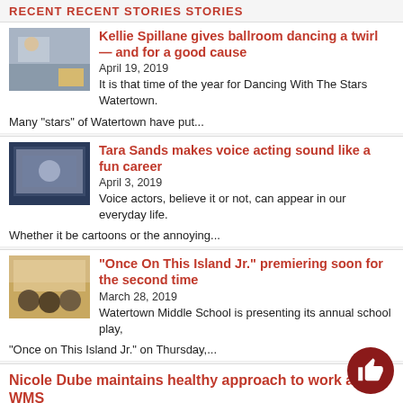RECENT STORIES
Kellie Spillane gives ballroom dancing a twirl — and for a good cause
April 19, 2019
It is that time of the year for Dancing With The Stars Watertown. Many "stars" of Watertown have put...
Tara Sands makes voice acting sound like a fun career
April 3, 2019
Voice actors, believe it or not, can appear in our everyday life. Whether it be cartoons or the annoying...
“Once On This Island Jr.” premiering soon for the second time
March 28, 2019
Watertown Middle School is presenting its annual school play, “Once on This Island Jr.” on Thursday,...
Nicole Dube maintains healthy approach to work at WMS
March 11, 2019
You might think you know everything about Nicole Dube, the health teacher at Watertown Middle School,...
Teaching math at WMS adds up for Edward Cafua